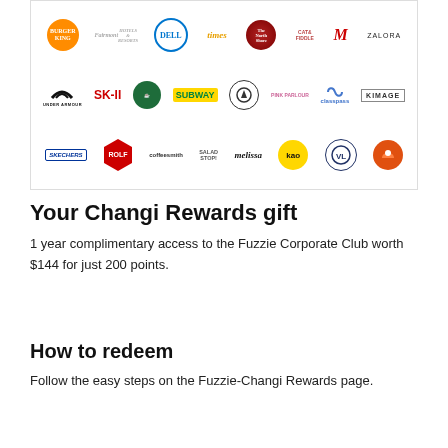[Figure (infographic): Grid of brand logos including Burger King, Fairmont, Dell, Times, The Northshore Mail Market, Cat & Fiddle, Marchichi, Zalora, Under Armour, SK-II, Starbucks-like logo, Subway, Audio-Technica, Pink Parlour, Classpass, Kimage, Skechers, Rolf (hexagon red), Coffeesmith, Saladstop!, Melissa, Kaori, Vision Lab, Autobacs]
Your Changi Rewards gift
1 year complimentary access to the Fuzzie Corporate Club worth $144 for just 200 points.
How to redeem
Follow the easy steps on the Fuzzie-Changi Rewards page.